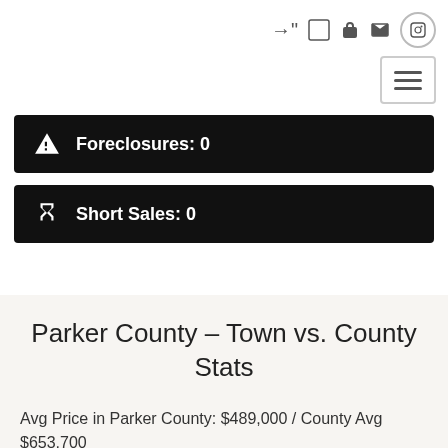Foreclosures: 0
Short Sales: 0
Parker County – Town vs. County Stats
Avg Price in Parker County: $489,000 / County Avg $653,700